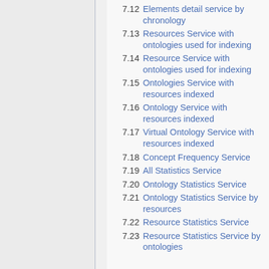7.12 Elements detail service by chronology
7.13 Resources Service with ontologies used for indexing
7.14 Resource Service with ontologies used for indexing
7.15 Ontologies Service with resources indexed
7.16 Ontology Service with resources indexed
7.17 Virtual Ontology Service with resources indexed
7.18 Concept Frequency Service
7.19 All Statistics Service
7.20 Ontology Statistics Service
7.21 Ontology Statistics Service by resources
7.22 Resource Statistics Service
7.23 Resource Statistics Service by ontologies